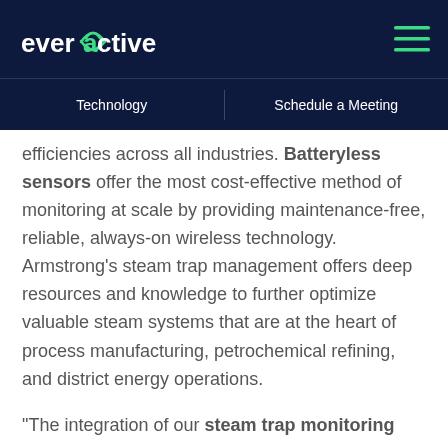everactive | Technology | Schedule a Meeting
efficiencies across all industries. Batteryless sensors offer the most cost-effective method of monitoring at scale by providing maintenance-free, reliable, always-on wireless technology. Armstrong’s steam trap management offers deep resources and knowledge to further optimize valuable steam systems that are at the heart of process manufacturing, petrochemical refining, and district energy operations.
“The integration of our steam trap monitoring